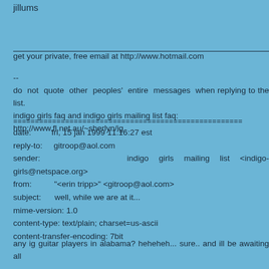jillums
get your private, free email at http://www.hotmail.com
--
do not quote other peoples' entire messages when replying to the list.
indigo girls faq and indigo girls mailing list faq:
http://www.fl.net.au/~sherlyn/ig
date:         fri, 15 jan 1999 11:16:27 est
reply-to:     gitroop@aol.com
sender:                indigo girls mailing list <indigo-girls@netspace.org>
from:         "<erin tripp>" <gitroop@aol.com>
subject:      well, while we are at it...
mime-version: 1.0
content-type: text/plain; charset=us-ascii
content-transfer-encoding: 7bit
any ig guitar players in alabama? heheheh... sure.. and ill be awaiting all